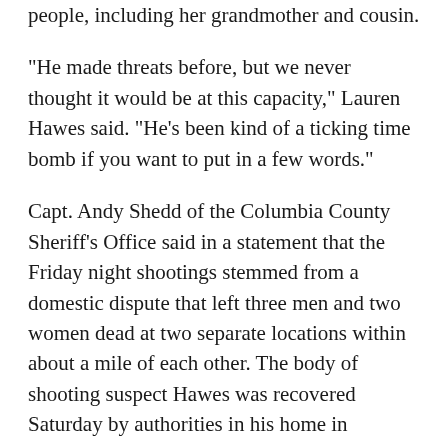people, including her grandmother and cousin.
"He made threats before, but we never thought it would be at this capacity," Lauren Hawes said. "He's been kind of a ticking time bomb if you want to put in a few words."
Capt. Andy Shedd of the Columbia County Sheriff's Office said in a statement that the Friday night shootings stemmed from a domestic dispute that left three men and two women dead at two separate locations within about a mile of each other. The body of shooting suspect Hawes was recovered Saturday by authorities in his home in Appling.
Lauren Hawes, 26, confirmed that the bloodshed was connected to a domestic dispute between her parents: her mother had walked out on her father just a week